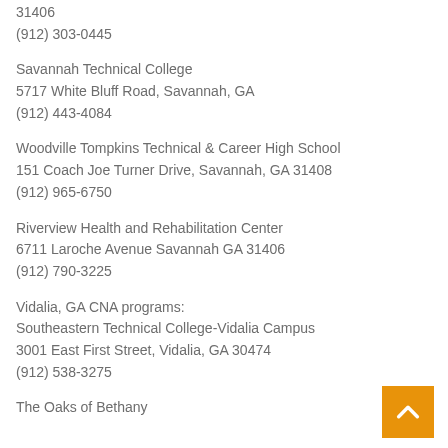31406
(912) 303-0445
Savannah Technical College
5717 White Bluff Road, Savannah, GA
(912) 443-4084
Woodville Tompkins Technical & Career High School
151 Coach Joe Turner Drive, Savannah, GA 31408
(912) 965-6750
Riverview Health and Rehabilitation Center
6711 Laroche Avenue Savannah GA 31406
(912) 790-3225
Vidalia, GA CNA programs:
Southeastern Technical College-Vidalia Campus
3001 East First Street, Vidalia, GA 30474
(912) 538-3275
The Oaks of Bethany